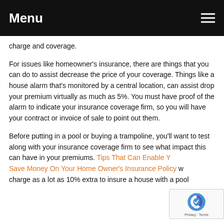Menu
charge and coverage.
For issues like homeowner's insurance, there are things that you can do to assist decrease the price of your coverage. Things like a house alarm that's monitored by a central location, can assist drop your premium virtually as much as 5%. You must have proof of the alarm to indicate your insurance coverage firm, so you will have your contract or invoice of sale to point out them.
Before putting in a pool or buying a trampoline, you'll want to test along with your insurance coverage firm to see what impact this can have in your premiums. Tips That Can Enable You Save Money On Your Home Owner's Insurance Policy w… charge as a lot as 10% extra to insure a house with a pool